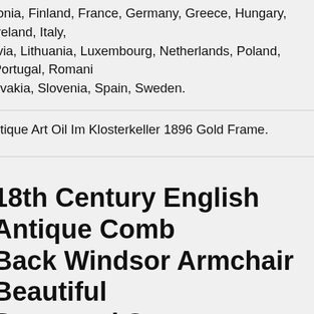tonia, Finland, France, Germany, Greece, Hungary, Ireland, Italy, tvia, Lithuania, Luxembourg, Netherlands, Poland, Portugal, Romani ovakia, Slovenia, Spain, Sweden.
ntique Art Oil Im Klosterkeller 1896 Gold Frame.
18th Century English Antique Comb Back Windsor Armchair Beautiful Burrwood Seat
e Had To Buy This Chair Not Just Because It Is An 18th Century English Antique Comb Back Windsor But Also Because Of Its Fabulous Burrwood Seat Board! With Shaped Cresting Rail Above A Spindle Back hree-part Arm With Shaped Supports Burrwood Seat And Supported n Four Turned Legs United By An "h" Stretcher.
ll Antique Hall Stand, English, Oak, Mirror, Coat Rack, Chinoiserie, Victorian. This Is A Tall Antique Hall Stand. An English, Oak Stand With irror And Coat Rack Of Carved Chinoiserie Taste, Dating To The